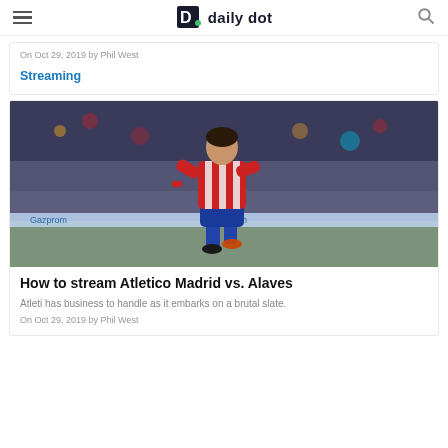daily dot
On Oct 29, 2019 by Phil West
Streaming
[Figure (photo): Atletico Madrid soccer player in red and white striped jersey and blue shorts mid-action on the pitch with crowd in background]
How to stream Atletico Madrid vs. Alaves
Atleti has business to handle as it embarks on a brutal slate.
On Oct 29, 2019 by Phil West